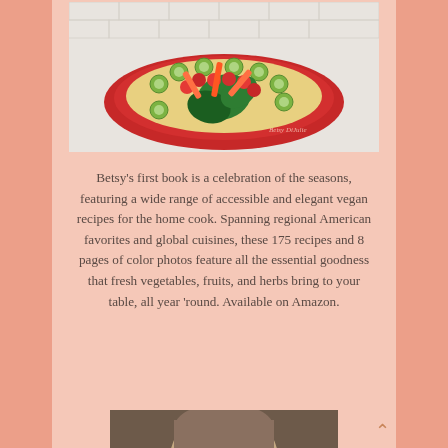[Figure (photo): Overhead photo of a large red plate or platter filled with colorful vegetables — cherry tomatoes, cucumber slices, carrots, dark leafy greens. A watermark reads 'Betsy DiJulie'. White brick wall background.]
Betsy's first book is a celebration of the seasons, featuring a wide range of accessible and elegant vegan recipes for the home cook. Spanning regional American favorites and global cuisines, these 175 recipes and 8 pages of color photos feature all the essential goodness that fresh vegetables, fruits, and herbs bring to your table, all year 'round. Available on Amazon.
[Figure (photo): Portrait photo of a woman with short light brown/gray hair, looking toward the camera. Brown background.]